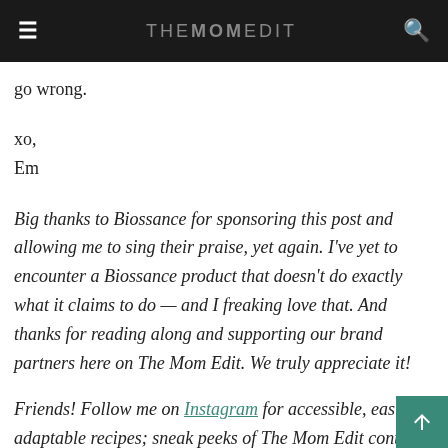THE MOM EDIT
go wrong.
xo,
Em
Big thanks to Biossance for sponsoring this post and allowing me to sing their praise, yet again. I've yet to encounter a Biossance product that doesn't do exactly what it claims to do — and I freaking love that. And thanks for reading along and supporting our brand partners here on The Mom Edit. We truly appreciate it!
Friends! Follow me on Instagram for accessible, easily adaptable recipes; sneak peeks of The Mom Edit conte